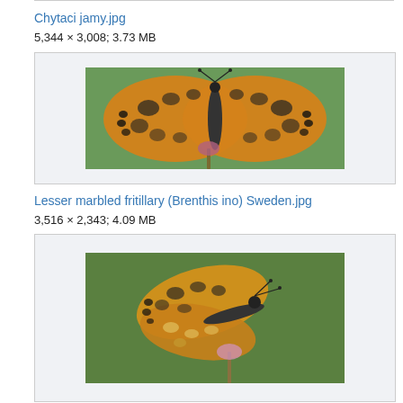Chytaci jamy.jpg
5,344 × 3,008; 3.73 MB
[Figure (photo): Orange and black butterfly (fritillary) perched on a flower, viewed from above, against green background]
Lesser marbled fritillary (Brenthis ino) Sweden.jpg
3,516 × 2,343; 4.09 MB
[Figure (photo): Orange and black butterfly (lesser marbled fritillary) perched on a pink flower, viewed from the side, against green background]